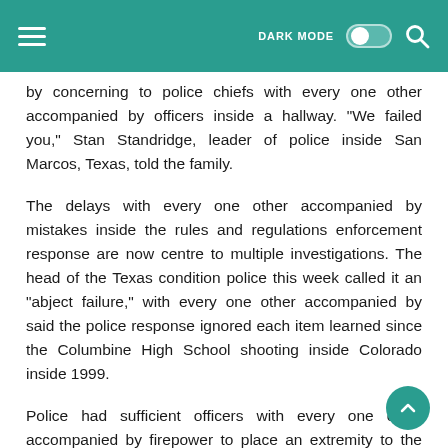DARK MODE [toggle] [search]
by concerning to police chiefs with every one other accompanied by officers inside a hallway. "We failed you," Stan Standridge, leader of police inside San Marcos, Texas, told the family.
The delays with every one other accompanied by mistakes inside the rules and regulations enforcement response are now centre to multiple investigations. The head of the Texas condition police this week called it an "abject failure," with every one other accompanied by said the police response ignored each item learned since the Columbine High School shooting inside Colorado inside 1999.
Police had sufficient officers with every one other accompanied by firepower to place an extremity to the gunman trio minutes following he entered the school,